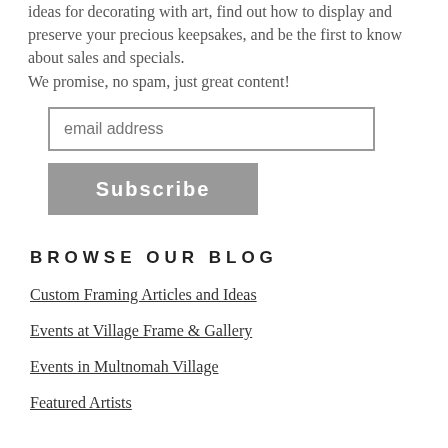ideas for decorating with art, find out how to display and preserve your precious keepsakes, and be the first to know about sales and specials.
We promise, no spam, just great content!
email address
Subscribe
BROWSE OUR BLOG
Custom Framing Articles and Ideas
Events at Village Frame & Gallery
Events in Multnomah Village
Featured Artists